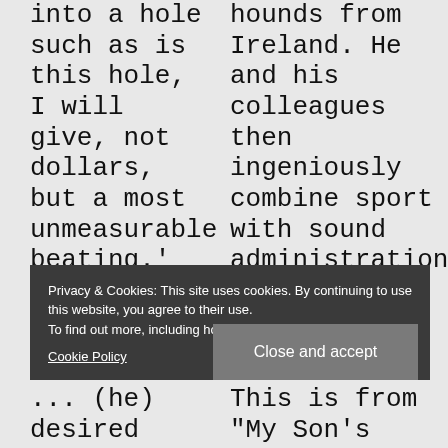into a hole such as is this hole, I will give, not dollars, but a most unmeasurable beating.'
hounds from Ireland. He and his colleagues then ingeniously combine sport with sound administration of justice, to the bafflement, and eventual discomfiture, of a tiresome visiting MP.
Privacy & Cookies: This site uses cookies. By continuing to use this website, you agree to their use.
To find out more, including how to control cookies, see here:
Cookie Policy
Close and accept
... (he) desired more than he desired anything, that the
This is from "My Son's Wife" in A Diversity of